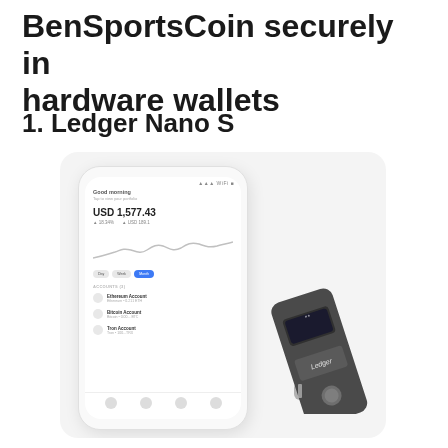BenSportsCoin securely in hardware wallets
1. Ledger Nano S
[Figure (photo): Ledger Nano S hardware wallet USB device shown next to a smartphone displaying the Ledger Live app with a portfolio balance of USD 1,577.43]